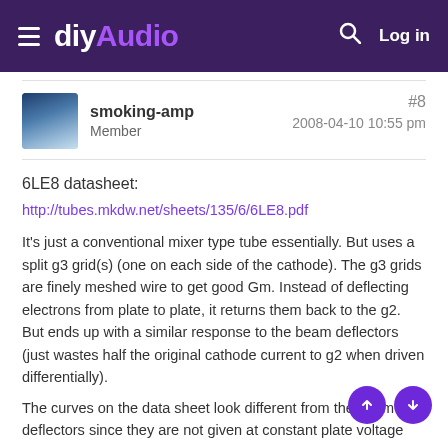diyAudio — Log in
smoking-amp
Member
#8
2008-04-10 10:55 pm
6LE8 datasheet:
http://tubes.mkdw.net/sheets/135/6/6LE8.pdf
It's just a conventional mixer type tube essentially. But uses a split g3 grid(s) (one on each side of the cathode). The g3 grids are finely meshed wire to get good Gm. Instead of deflecting electrons from plate to plate, it returns them back to the g2. But ends up with a similar response to the beam deflectors (just wastes half the original cathode current to g2 when driven differentially).
The curves on the data sheet look different from the beam deflectors since they are not given at constant plate voltage